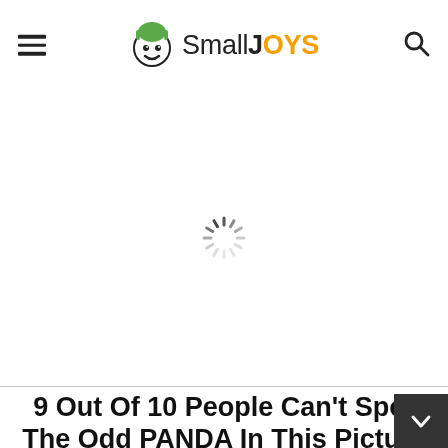SmallJOYS
[Figure (other): Loading spinner / circular loading indicator in the center of the ad/image area]
9 Out Of 10 People Can't Spot The Odd PANDA In This Picture Puzzle! But Can You Find It In Just 10 Seconds?